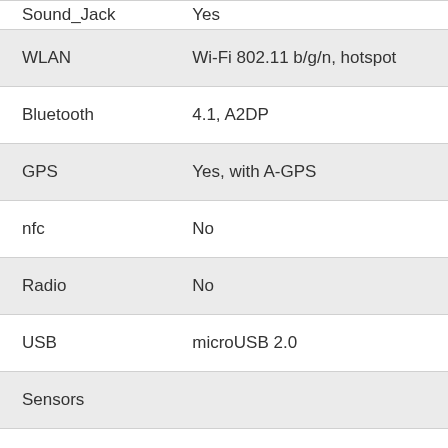| Feature | Value |
| --- | --- |
| Sound_Jack | Yes |
| WLAN | Wi-Fi 802.11 b/g/n, hotspot |
| Bluetooth | 4.1, A2DP |
| GPS | Yes, with A-GPS |
| nfc | No |
| Radio | No |
| USB | microUSB 2.0 |
| Sensors |  |
| Battery |  |
|  | Li-Ion 1500 mAh, removable |